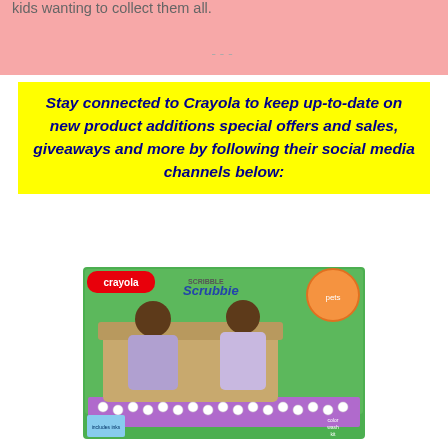kids wanting to collect them all.
---
Stay connected to Crayola to keep up-to-date on new product additions special offers and sales, giveaways and more by following their social media channels below:
[Figure (photo): Crayola Scribble Scrubbie product box showing two children coloring small white animal figurines on a purple mat, with the Crayola logo and product branding visible]